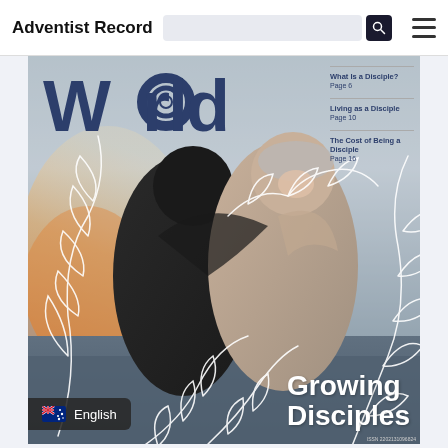Adventist Record
[Figure (photo): Magazine cover of 'World' publication showing two men embracing in water, with decorative white vine/leaf overlay. Title 'World' in large dark blue text top-left. Sidebar table of contents on the right listing: 'What Is a Disciple? Page 6', 'Living as a Disciple Page 10', 'The Cost of Being a Disciple Page 16'. Bottom right text reads 'Growing Disciples'. Bottom left shows a language badge with Australian flag and 'English'.]
What Is a Disciple?
Page 6
Living as a Disciple
Page 10
The Cost of Being a Disciple
Page 16
Growing Disciples